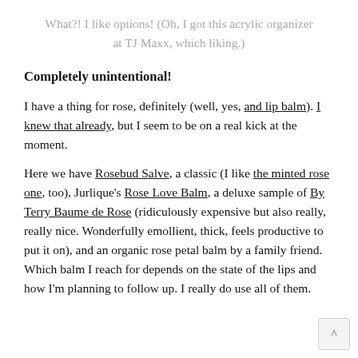What?! I like options! (Oh, I got this acrylic organizer at TJ Maxx, which liking.)
Completely unintentional!
I have a thing for rose, definitely (well, yes, and lip balm). I knew that already, but I seem to be on a real kick at the moment.
Here we have Rosebud Salve, a classic (I like the minted rose one, too), Jurlique's Rose Love Balm, a deluxe sample of By Terry Baume de Rose (ridiculously expensive but also really, really nice. Wonderfully emollient, thick, feels productive to put it on), and an organic rose petal balm by a family friend. Which balm I reach for depends on the state of the lips and how I'm planning to follow up. I really do use all of them.